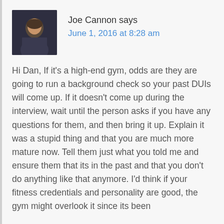Joe Cannon says
June 1, 2016 at 8:28 am
Hi Dan, If it's a high-end gym, odds are they are going to run a background check so your past DUIs will come up. If it doesn't come up during the interview, wait until the person asks if you have any questions for them, and then bring it up. Explain it was a stupid thing and that you are much more mature now. Tell them just what you told me and ensure them that its in the past and that you don't do anything like that anymore. I'd think if your fitness credentials and personality are good, the gym might overlook it since its been